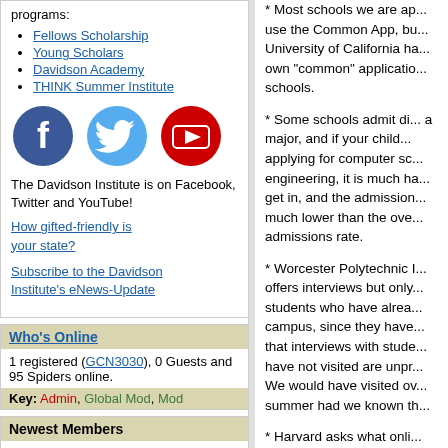programs:
Fellows Scholarship
Young Scholars
Davidson Academy
THINK Summer Institute
[Figure (illustration): Social media icons: Facebook (blue circle with f), Twitter (light blue circle with bird), YouTube (red circle with play button)]
The Davidson Institute is on Facebook, Twitter and YouTube!
How gifted-friendly is your state?
Subscribe to the Davidson Institute's eNews-Update
Who's Online
1 registered (GCN3030), 0 Guests and 95 Spiders online.
Key: Admin, Global Mod, Mod
Newest Members
Mvdnest, Ally, Callistro, Marioasn, Tangerine
* Most schools we are ap... use the Common App, bu... University of California ha... own "common" applicatio... schools.
* Some schools admit di... a major, and if your child... applying for computer sc... engineering, it is much ha... get in, and the admission... much lower than the ove... admissions rate.
* Worcester Polytechnic I... offers interviews but only... students who have alrea... campus, since they have... that interviews with stude... have not visited are unpr... We would have visited ov... summer had we known th...
* Harvard asks what onli... courses you have comple... example at EdX or Cours...
* Harvard asks where the... applicant has lived since...